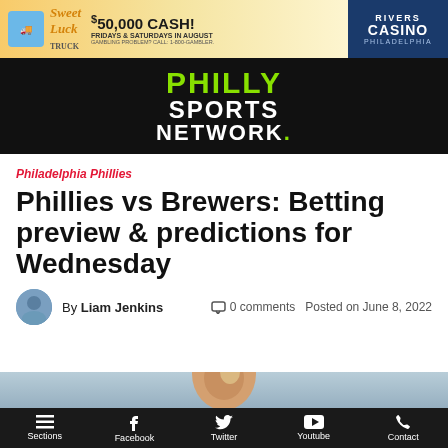[Figure (illustration): Advertisement banner for Rivers Casino Philadelphia showing '$50,000 CASH! Fridays & Saturdays in August' promotion with a food truck graphic and Rivers Casino Philadelphia logo]
[Figure (logo): Philly Sports Network logo in white and green text on black background]
Philadelphia Phillies
Phillies vs Brewers: Betting preview & predictions for Wednesday
By Liam Jenkins   0 comments   Posted on June 8, 2022
[Figure (photo): Partial photo of a baseball pitcher's hand holding a ball, blurred background]
Sections   Facebook   Twitter   Youtube   Contact